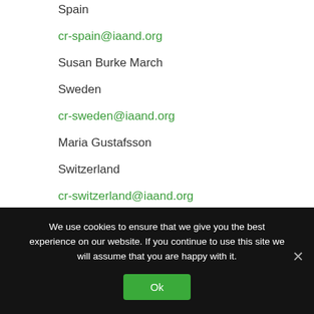Spain
cr-spain@iaand.org
Susan Burke March
Sweden
cr-sweden@iaand.org
Maria Gustafsson
Switzerland
cr-switzerland@iaand.org
We use cookies to ensure that we give you the best experience on our website. If you continue to use this site we will assume that you are happy with it.